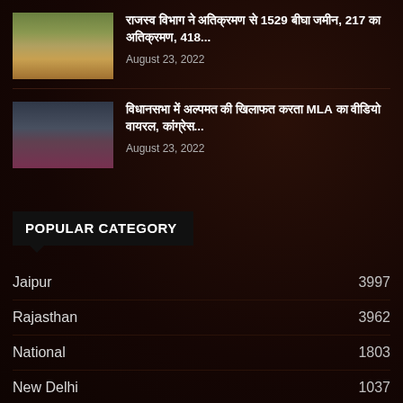[Figure (photo): Tractors on a dirt road, outdoor scene]
राजस्व विभाग ने अतिक्रमण से 1529 बीघा जमीन, 217 का अतिक्रमण, 418...
August 23, 2022
[Figure (photo): People crowded together, political gathering scene]
विधानसभा में अल्पमत की खिलाफत करता MLA का वीडियो वायरल, कांग्रेस...
August 23, 2022
POPULAR CATEGORY
Jaipur 3997
Rajasthan 3962
National 1803
New Delhi 1037
Politics 497
Udaipur 349